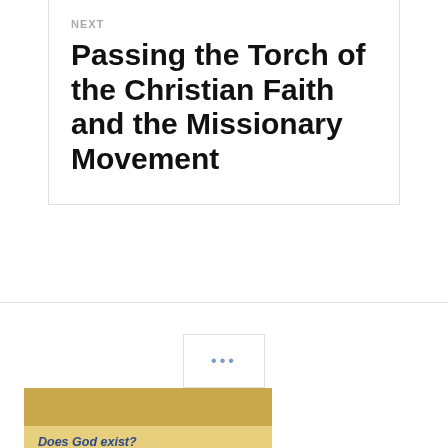NEXT
Passing the Torch of the Christian Faith and the Missionary Movement
Does God exist?
Why is there evil?
Does God answer prayer?
How do I find intimacy?
How can you believe the Bible?
Is Jesus God?
What about other religions?
Why do I drink so much?
How do I find my purpose?
How can I know God?